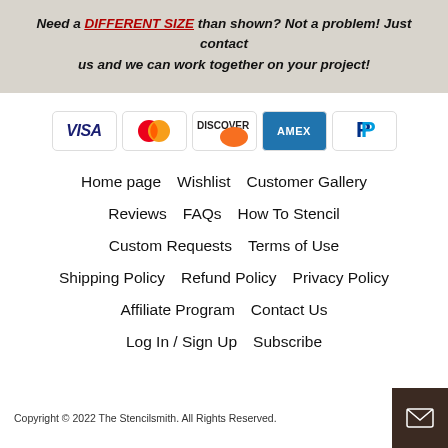Need a DIFFERENT SIZE than shown? Not a problem! Just contact us and we can work together on your project!
[Figure (infographic): Row of payment method icons: Visa, Mastercard, Discover, American Express, PayPal]
Home page    Wishlist    Customer Gallery
Reviews    FAQs    How To Stencil
Custom Requests    Terms of Use
Shipping Policy    Refund Policy    Privacy Policy
Affiliate Program    Contact Us
Log In / Sign Up    Subscribe
Copyright © 2022 The Stencilsmith. All Rights Reserved.